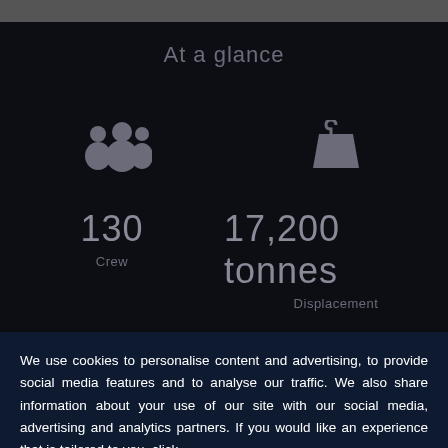At a glance
[Figure (infographic): Two icons: a group of people (crew) icon on the left, and a weight/tonnage icon on the right. Below each icon: '130 Crew' and '17,200 tonnes Displacement'.]
We use cookies to personalise content and advertising, to provide social media features and to analyse our traffic. We also share information about your use of our site with our social media, advertising and analytics partners. If you would like an experience that is tailored to you, click